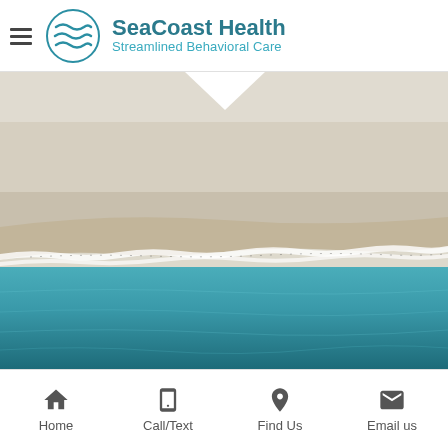[Figure (logo): SeaCoast Health logo with teal wave circle icon and text 'SeaCoast Health / Streamlined Behavioral Care']
[Figure (photo): Aerial view of a beach coastline showing sandy shore, breaking waves with white foam, and teal/dark teal ocean water below, with a white downward-pointing triangle/arrow notch at top center]
Home | Call/Text | Find Us | Email us